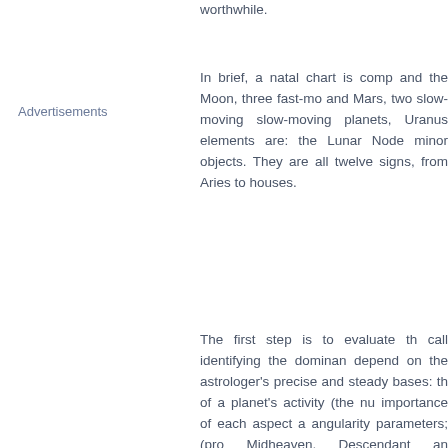worthwhile.
In brief, a natal chart is comp and the Moon, three fast-mo and Mars, two slow-moving slow-moving planets, Uranus elements are: the Lunar Node minor objects. They are all twelve signs, from Aries to houses.
Advertisements
The first step is to evaluate th call identifying the dominan depend on the astrologer's precise and steady bases: th of a planet's activity (the nu importance of each aspect a angularity parameters; (pro Midheaven, Descendant an evaluated numerically, accor distance) and quality param